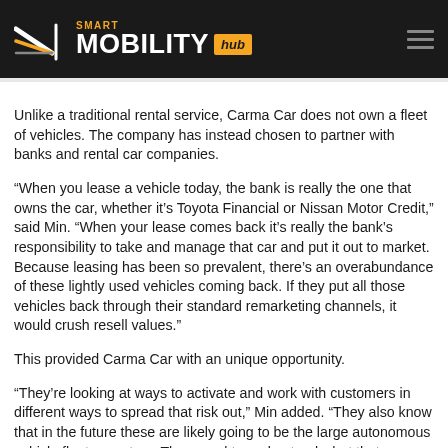SMART MOBILITY hub
Unlike a traditional rental service, Carma Car does not own a fleet of vehicles. The company has instead chosen to partner with banks and rental car companies.
“When you lease a vehicle today, the bank is really the one that owns the car, whether it’s Toyota Financial or Nissan Motor Credit,” said Min. “When your lease comes back it’s really the bank’s responsibility to take and manage that car and put it out to market. Because leasing has been so prevalent, there’s an overabundance of these lightly used vehicles coming back. If they put all those vehicles back through their standard remarketing channels, it would crush resell values.”
This provided Carma Car with an unique opportunity.
“They’re looking at ways to activate and work with customers in different ways to spread that risk out,” Min added. “They also know that in the future these are likely going to be the large autonomous vehicle fleet operators. They need to understand what that subscription experience needs to be. We can start to build those mechanisms and platforms today that will make even more sense in the future [with AVs].”
Carma Car is currently piloting its service in Chicago and hopes to roll out additional cities in the near future.
“We’re looking at cities that are still car-dependent, so probably not downtown Manhattan or San Francisco,” said Min. “But there are a number of areas that are car-dependent that index highly with the demographics we know gravitate toward a subscription. Even